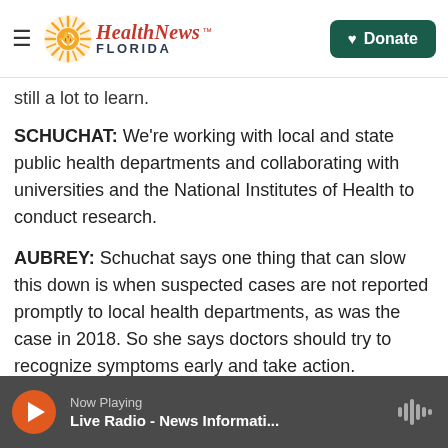Health News Florida — Donate
still a lot to learn.
SCHUCHAT: We're working with local and state public health departments and collaborating with universities and the National Institutes of Health to conduct research.
AUBREY: Schuchat says one thing that can slow this down is when suspected cases are not reported promptly to local health departments, as was the case in 2018. So she says doctors should try to recognize symptoms early and take action.
SCHUCHAT: When specimens are collected as
Now Playing — Live Radio - News Informati...